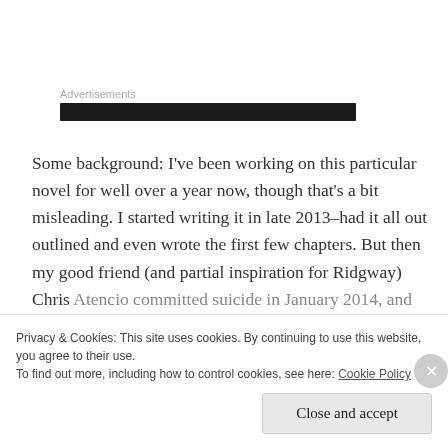Advertisements
[Figure (other): Dark advertisement banner bar]
Some background: I've been working on this particular novel for well over a year now, though that's a bit misleading. I started writing it in late 2013–had it all out outlined and even wrote the first few chapters. But then my good friend (and partial inspiration for Ridgway) Chris Atencio committed suicide in January 2014, and
Privacy & Cookies: This site uses cookies. By continuing to use this website, you agree to their use.
To find out more, including how to control cookies, see here: Cookie Policy
Close and accept